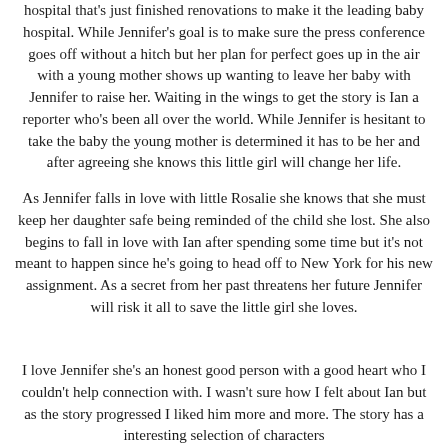hospital that's just finished renovations to make it the leading baby hospital. While Jennifer's goal is to make sure the press conference goes off without a hitch but her plan for perfect goes up in the air with a young mother shows up wanting to leave her baby with Jennifer to raise her. Waiting in the wings to get the story is Ian a reporter who's been all over the world. While Jennifer is hesitant to take the baby the young mother is determined it has to be her and after agreeing she knows this little girl will change her life.
As Jennifer falls in love with little Rosalie she knows that she must keep her daughter safe being reminded of the child she lost. She also begins to fall in love with Ian after spending some time but it's not meant to happen since he's going to head off to New York for his new assignment. As a secret from her past threatens her future Jennifer will risk it all to save the little girl she loves.
I love Jennifer she's an honest good person with a good heart who I couldn't help connection with. I wasn't sure how I felt about Ian but as the story progressed I liked him more and more. The story has a interesting selection of characters